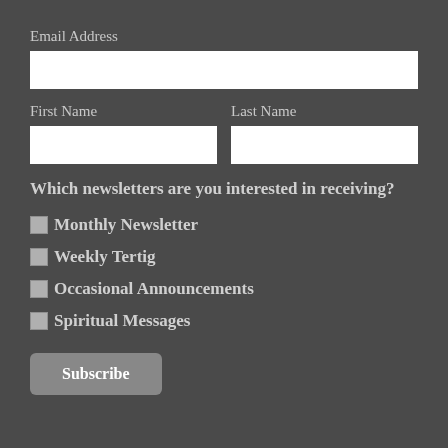Email Address
First Name
Last Name
Which newsletters are you interested in receiving?
Monthly Newsletter
Weekly Tertig
Occasional Announcements
Spiritual Messages
Subscribe